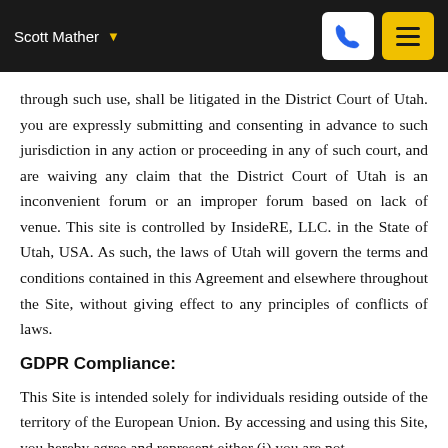Scott Mather
through such use, shall be litigated in the District Court of Utah. you are expressly submitting and consenting in advance to such jurisdiction in any action or proceeding in any of such court, and are waiving any claim that the District Court of Utah is an inconvenient forum or an improper forum based on lack of venue. This site is controlled by InsideRE, LLC. in the State of Utah, USA. As such, the laws of Utah will govern the terms and conditions contained in this Agreement and elsewhere throughout the Site, without giving effect to any principles of conflicts of laws.
GDPR Compliance:
This Site is intended solely for individuals residing outside of the territory of the European Union. By accessing and using this Site, you hereby agree and represent either (i) you are not